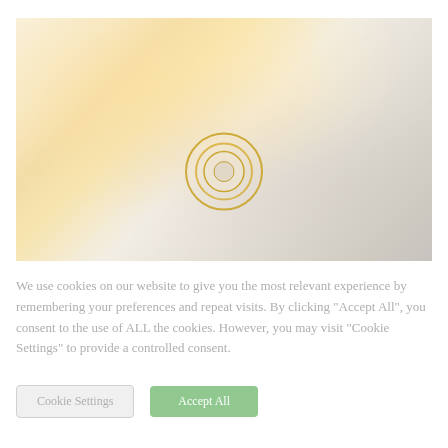[Figure (photo): A washed-out, heavily overexposed photo of food cooking with flames in a wok or pan. The image appears very faded/light with a white overlay. A circular play button icon (concentric circles in gold/yellow) is centered in the lower portion of the image.]
We use cookies on our website to give you the most relevant experience by remembering your preferences and repeat visits. By clicking "Accept All", you consent to the use of ALL the cookies. However, you may visit "Cookie Settings" to provide a controlled consent.